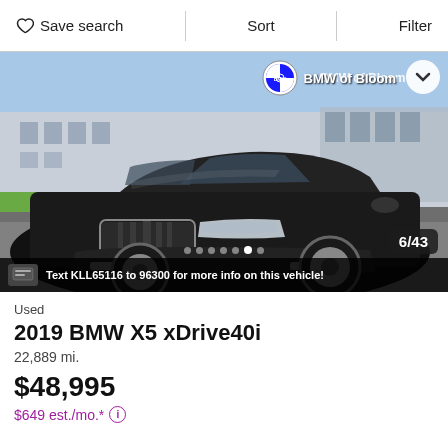Save search   Sort   Filter
[Figure (photo): Black 2019 BMW X5 xDrive40i SUV photographed in front of a BMW dealership (BMW of Bloomington), parked on a paved lot. The photo shows the front three-quarter view of the dark-colored vehicle. A text overlay reads: Text KLL65116 to 96300 for more info on this vehicle! A badge shows 6/43 indicating photo 6 of 43.]
Used
2019 BMW X5 xDrive40i
22,889 mi.
$48,995
$649 est./mo.* ⓘ